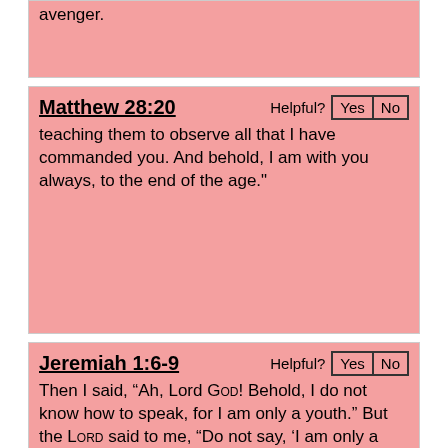avenger.
Matthew 28:20
teaching them to observe all that I have commanded you. And behold, I am with you always, to the end of the age."
Jeremiah 1:6-9
Then I said, “Ah, Lord God! Behold, I do not know how to speak, for I am only a youth.” But the Lord said to me, “Do not say, ‘I am only a youth’; for to all to whom